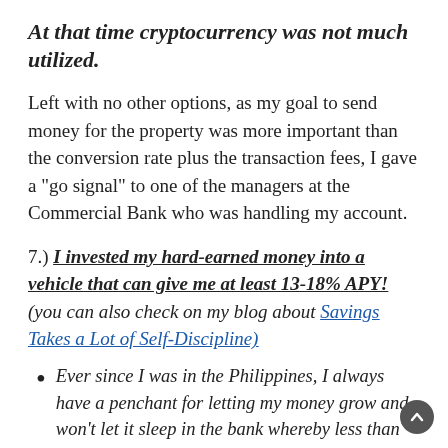At that time cryptocurrency was not much utilized.
Left with no other options, as my goal to send money for the property was more important than the conversion rate plus the transaction fees, I gave a "go signal" to one of the managers at the Commercial Bank who was handling my account.
7.) I invested my hard-earned money into a vehicle that can give me at least 13-18% APY! (you can also check on my blog about Savings Takes a Lot of Self-Discipline)
Ever since I was in the Philippines, I always have a penchant for letting my money grow and won't let it sleep in the bank whereby less than 1% is given annually. I had invested quite a good amount of money in a friend with whom we had a good personal relationship, as we were together